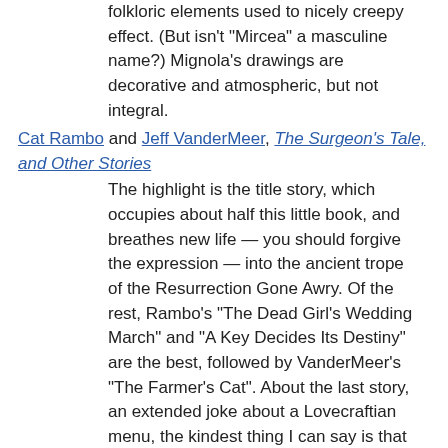folkloric elements used to nicely creepy effect. (But isn't "Mircea" a masculine name?) Mignola's drawings are decorative and atmospheric, but not integral.
Cat Rambo and Jeff VanderMeer, The Surgeon's Tale, and Other Stories
The highlight is the title story, which occupies about half this little book, and breathes new life — you should forgive the expression — into the ancient trope of the Resurrection Gone Awry. Of the rest, Rambo's "The Dead Girl's Wedding March" and "A Key Decides Its Destiny" are the best, followed by VanderMeer's "The Farmer's Cat". About the last story, an extended joke about a Lovecraftian menu, the kindest thing I can say is that the authors must've had fun writing it.
F. T. Marinetti, The Untameables
Not actually recommended, unless you want a violent Futurist words-in-liberty fantasy full of orientalism,